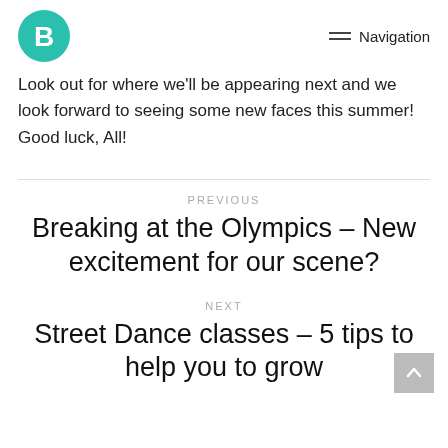Navigation
Look out for where we'll be appearing next and we look forward to seeing some new faces this summer! Good luck, All!
PREVIOUS
Breaking at the Olympics – New excitement for our scene?
NEXT
Street Dance classes – 5 tips to help you to grow